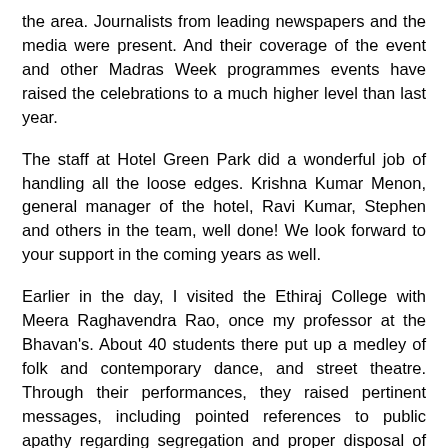the area. Journalists from leading newspapers and the media were present. And their coverage of the event and other Madras Week programmes events have raised the celebrations to a much higher level than last year.
The staff at Hotel Green Park did a wonderful job of handling all the loose edges. Krishna Kumar Menon, general manager of the hotel, Ravi Kumar, Stephen and others in the team, well done! We look forward to your support in the coming years as well.
Earlier in the day, I visited the Ethiraj College with Meera Raghavendra Rao, once my professor at the Bhavan's. About 40 students there put up a medley of folk and contemporary dance, and street theatre. Through their performances, they raised pertinent messages, including pointed references to public apathy regarding segregation and proper disposal of garbage. There was a detailed powerpoint presentation about Chennai and its neighbourhood. The auditorium was house full, and most of the students had taken time off from their study schedules and exams to participate in Madras Week celebrations. So heartening it